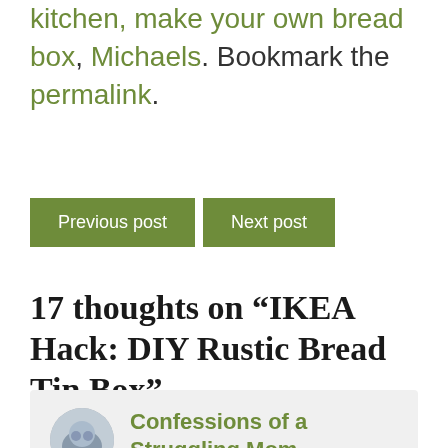kitchen, make your own bread box, Michaels. Bookmark the permalink.
[Figure (other): Navigation buttons: 'Previous post' and 'Next post' styled as green rectangular buttons]
17 thoughts on “IKEA Hack: DIY Rustic Bread Tin Box”
Confessions of a Struggling Mom
This is from a truncated blog comment card